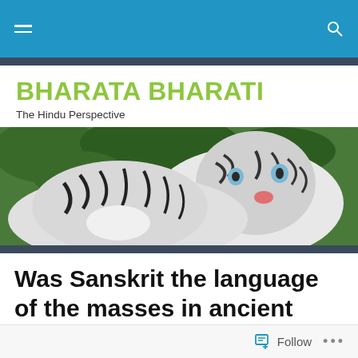BHARATA BHARATI — navigation bar
BHARATA BHARATI
The Hindu Perspective
[Figure (photo): Two white tigers with black stripes close together, greenery in background]
Was Sanskrit the language of the masses in ancient India? – Ram Abloh
Follow